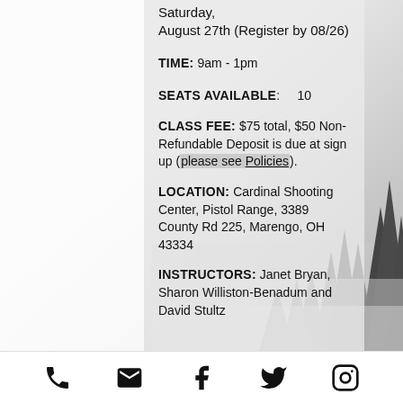Saturday, August 27th (Register by 08/26)
TIME: 9am - 1pm
SEATS AVAILABLE: 10
CLASS FEE: $75 total, $50 Non-Refundable Deposit is due at sign up (please see Policies).
LOCATION: Cardinal Shooting Center, Pistol Range, 3389 County Rd 225, Marengo, OH 43334
INSTRUCTORS: Janet Bryan, Sharon Williston-Benadum and David Stultz
Phone, Email, Facebook, Twitter, Instagram icons